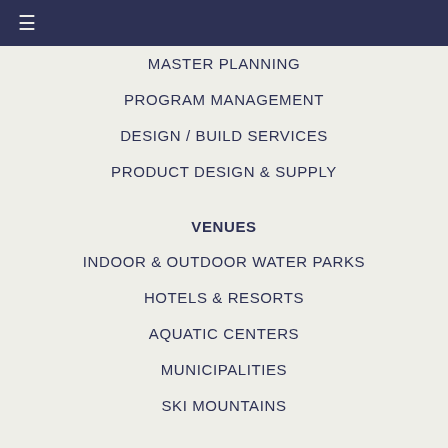≡
MASTER PLANNING
PROGRAM MANAGEMENT
DESIGN / BUILD SERVICES
PRODUCT DESIGN & SUPPLY
VENUES
INDOOR & OUTDOOR WATER PARKS
HOTELS & RESORTS
AQUATIC CENTERS
MUNICIPALITIES
SKI MOUNTAINS
PRODUCTS